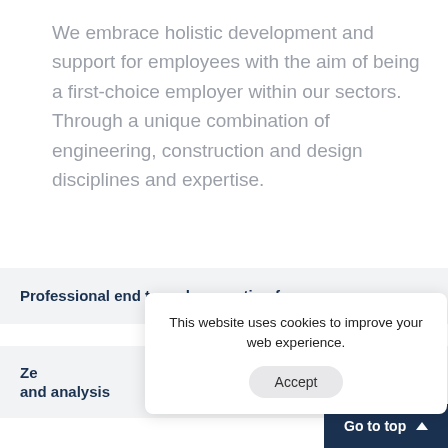We embrace holistic development and support for employees with the aim of being a first-choice employer within our sectors. Through a unique combination of engineering, construction and design disciplines and expertise.
Professional end to end encryption for co...
Ze... and analysis
This website uses cookies to improve your web experience.
Accept
Go to top